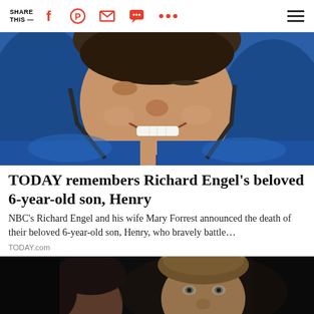SHARE THIS —
[Figure (photo): Close-up photo of a smiling young boy wearing a blue puffer jacket, looking down at the camera]
TODAY remembers Richard Engel's beloved 6-year-old son, Henry
NBC's Richard Engel and his wife Mary Forrest announced the death of their beloved 6-year-old son, Henry, who bravely battle…
TODAY.com
[Figure (photo): Partial photo showing the face of a man with brown hair against a dark background]